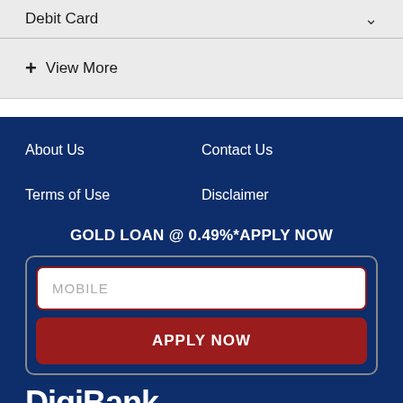Debit Card
+ View More
About Us
Contact Us
Terms of Use
Disclaimer
GOLD LOAN @ 0.49%*APPLY NOW
MOBILE
APPLY NOW
DigiBank